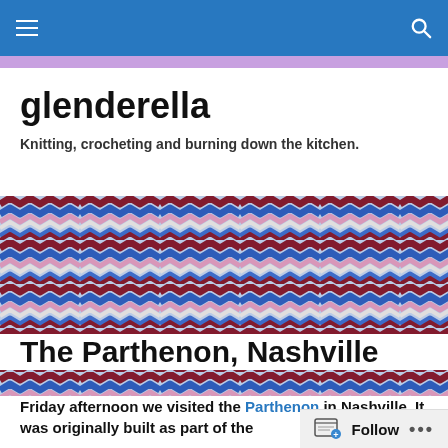glenderella — navigation bar
glenderella
Knitting, crocheting and burning down the kitchen.
[Figure (photo): Close-up photo of colorful zigzag/chevron crochet or knit fabric pattern in blue, red/burgundy, pink, and white colors forming diagonal wavy stripes.]
The Parthenon, Nashville
Friday afternoon we visited the Parthenon in Nashville. It was originally built as part of the Centennial...
Follow